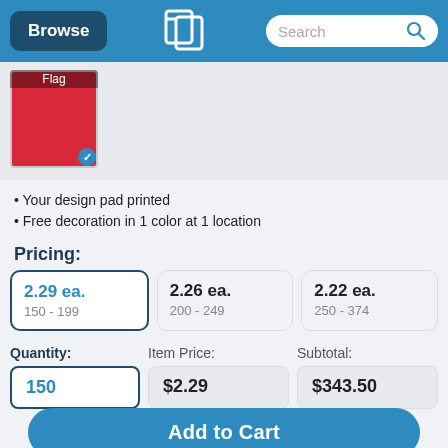Browse | [Logo] | Search
[Figure (photo): Red flag product thumbnail with 'Flag' label and blue checkmark]
Your design pad printed
Free decoration in 1 color at 1 location
Pricing:
| Price | Quantity Range |
| --- | --- |
| 2.29 ea. | 150 - 199 |
| 2.26 ea. | 200 - 249 |
| 2.22 ea. | 250 - 374 |
| Quantity: | Item Price: | Subtotal: |
| --- | --- | --- |
| 150 | $2.29 | $343.50 |
Add to Cart
or See It with Your Logo